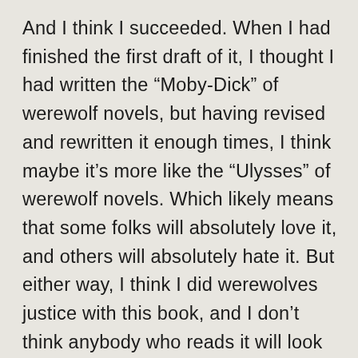And I think I succeeded. When I had finished the first draft of it, I thought I had written the “Moby-Dick” of werewolf novels, but having revised and rewritten it enough times, I think maybe it’s more like the “Ulysses” of werewolf novels. Which likely means that some folks will absolutely love it, and others will absolutely hate it. But either way, I think I did werewolves justice with this book, and I don’t think anybody who reads it will look at werewolves quite the same way again. I’ve already had some readers tell me that they kind of blew off werewolves before stumbling